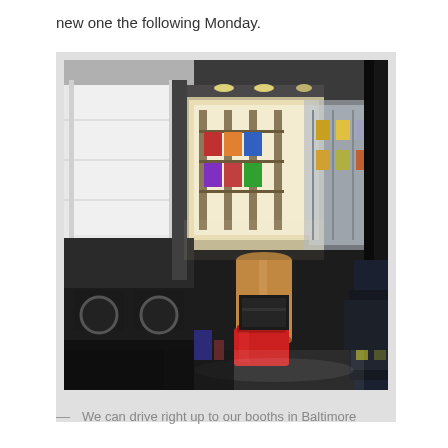new one the following Monday.
[Figure (photo): Interior of a warehouse/convention center loading area showing a large white delivery truck on the left, shelving units with merchandise in the background, cardboard boxes, a red plastic container, and a dark vehicle on the right. The floor is a shiny dark concrete.]
— We can drive right up to our booths in Baltimore